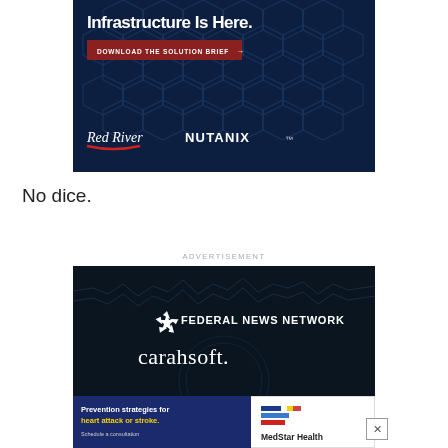[Figure (illustration): Advertisement banner for Red River and Nutanix. Dark blue hexagonal/tech pattern background. White bold text 'Infrastructure Is Here.' A red button reads 'DOWNLOAD THE SOLUTION BRIEF →'. Red River logo in italic white serif text with red underline swoosh. NUTANIX in bold white sans-serif.]
No dice.
ADVERTISEMENT
[Figure (illustration): Advertisement banner for Federal News Network and Carahsoft. Dark navy background with waveform/circuit overlay. Federal News Network logo (stylized star icon) and text in white. 'carahsoft.' in large white serif text below.]
[Figure (illustration): Bottom ad banner. Left side dark blue: 'Prevention strategies for heart attack or stroke. Schedule a consultation' with highlighted yellow text. Right side white: MedStar Health logo with colored bars and brand name.]